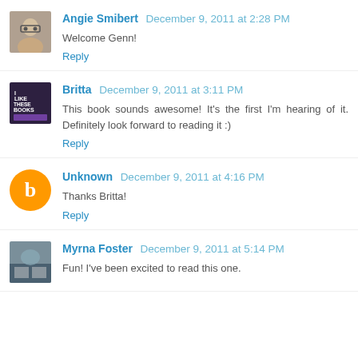Angie Smibert December 9, 2011 at 2:28 PM
Welcome Genn!
Reply
Britta December 9, 2011 at 3:11 PM
This book sounds awesome! It's the first I'm hearing of it. Definitely look forward to reading it :)
Reply
Unknown December 9, 2011 at 4:16 PM
Thanks Britta!
Reply
Myrna Foster December 9, 2011 at 5:14 PM
Fun! I've been excited to read this one.